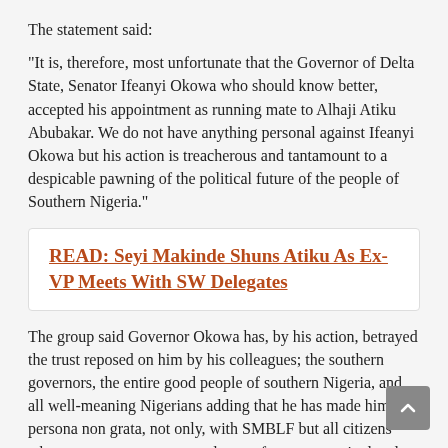The statement said:
"It is, therefore, most unfortunate that the Governor of Delta State, Senator Ifeanyi Okowa who should know better, accepted his appointment as running mate to Alhaji Atiku Abubakar. We do not have anything personal against Ifeanyi Okowa but his action is treacherous and tantamount to a despicable pawning of the political future of the people of Southern Nigeria."
READ: Seyi Makinde Shuns Atiku As Ex-VP Meets With SW Delegates
The group said Governor Okowa has, by his action, betrayed the trust reposed on him by his colleagues; the southern governors, the entire good people of southern Nigeria, and all well-meaning Nigerians adding that he has made himself persona non grata, not only, with SMBLF but all citizens who treasure our oneness and yearn for a more united and